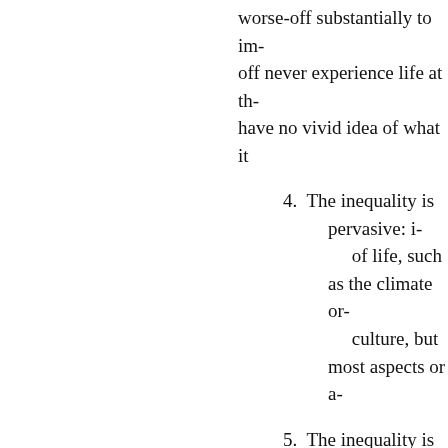worse-off substantially to im- off never experience life at th- have no vivid idea of what it
4. The inequality is pervasive: i- of life, such as the climate or- culture, but most aspects or a-
5. The inequality is avoidable: circumstances of the worse-o- themselves.[....]
6. There is a shared institutiona- and imposed on the worse of
7. This institutional order is im- inequality in that there is a fe- which severe and extensive p-
8. The radical inequality canno- (such as genetic handicaps o-